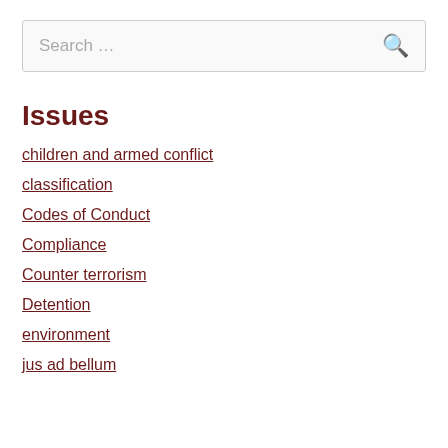[Figure (other): Search input box with placeholder text 'Search …' and a search icon button on the right]
Issues
children and armed conflict
classification
Codes of Conduct
Compliance
Counter terrorism
Detention
environment
jus ad bellum